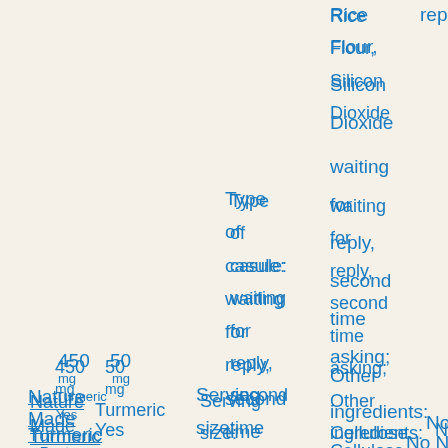Rice Flour, Silicon Dioxide waiting for reply, second time asking; Other ingredients: Cellulose Gel, Gelatin, Water,
Type of casule: waiting for reply, second time asking; Serving size: 1 capsule size: No
reply waiting for reply, second time asking;
450 mg Nature Made Turmeric Turmeric Root Curcumin powder extract
50 mg TurmeroneYes
No n/a No No
waiting uses for GMP reply, second Manufacto time Pratices) askin